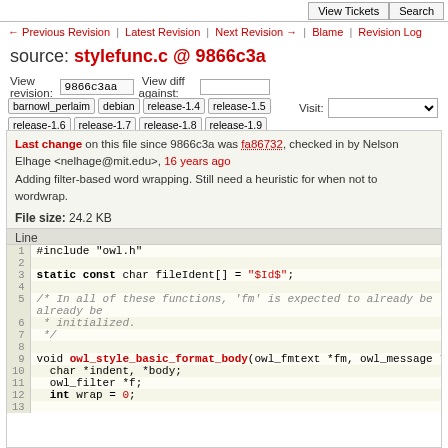View Tickets | Search
← Previous Revision | Latest Revision | Next Revision → | Blame | Revision Log
source: stylefunc.c @ 9866c3a
View revision: 9866c3aa   View diff against:
barnowl_perlaim  debian  release-1.4  release-1.5  release-1.6  release-1.7  release-1.8  release-1.9   Visit:
Last change on this file since 9866c3a was fa86732, checked in by Nelson Elhage <nelhage@mit.edu>, 16 years ago
Adding filter-based word wrapping. Still need a heuristic for when not to wordwrap.
Property mode set to 100644
File size: 24.2 KB
Line
1  #include "owl.h"
2
3  static const char fileIdent[] = "$Id$";
4
5  /* In all of these functions, 'fm' is expected to already be
6   * initialized.
7   */
8
9  void owl_style_basic_format_body(owl_fmtext *fm, owl_message *m) {
10   char *indent, *body;
11   owl_filter *f;
12   int wrap = 0;
13